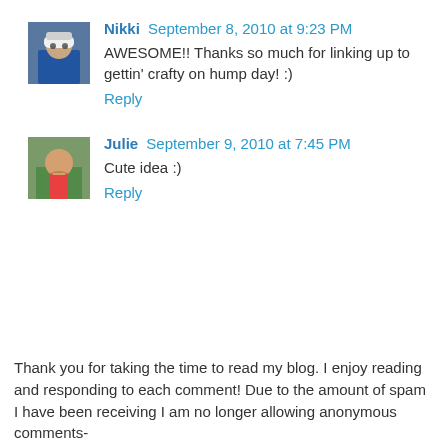[Figure (photo): Avatar photo of Nikki - person wearing white hat and blue shirt]
Nikki September 8, 2010 at 9:23 PM
AWESOME!! Thanks so much for linking up to gettin' crafty on hump day! :)
Reply
[Figure (photo): Avatar photo of Julie - person in outdoor setting]
Julie September 9, 2010 at 7:45 PM
Cute idea :)
Reply
Thank you for taking the time to read my blog. I enjoy reading and responding to each comment! Due to the amount of spam I have been receiving I am no longer allowing anonymous comments-